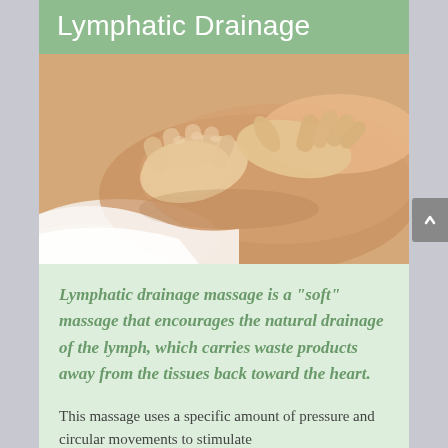Lymphatic Drainage
[Figure (photo): Close-up photograph of hands performing lymphatic drainage massage on a person's leg/thigh area. The hands are pressing and working on skin, with white sheets visible in the background. Warm skin tones dominate the image.]
Lymphatic drainage massage is a “soft” massage that encourages the natural drainage of the lymph, which carries waste products away from the tissues back toward the heart.
This massage uses a specific amount of pressure and circular movements to stimulate